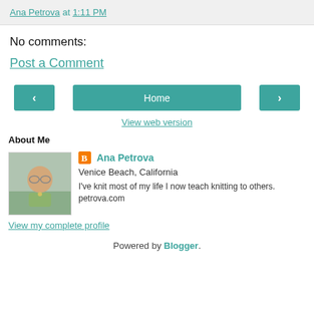Ana Petrova at 1:11 PM
No comments:
Post a Comment
< Home > View web version
About Me
Ana Petrova
Venice Beach, California
I've knit most of my life I now teach knitting to others. petrova.com
View my complete profile
Powered by Blogger.